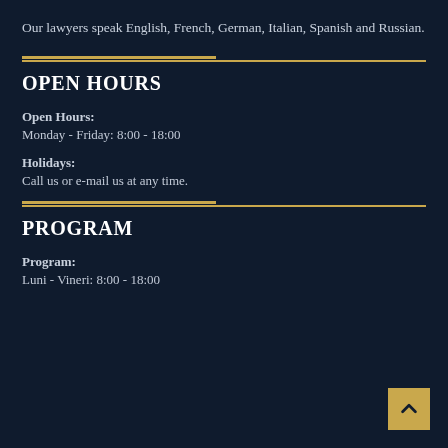Our lawyers speak English, French, German, Italian, Spanish and Russian.
OPEN HOURS
Open Hours:
Monday - Friday: 8:00 - 18:00
Holidays:
Call us or e-mail us at any time.
PROGRAM
Program:
Luni - Vineri: 8:00 - 18:00